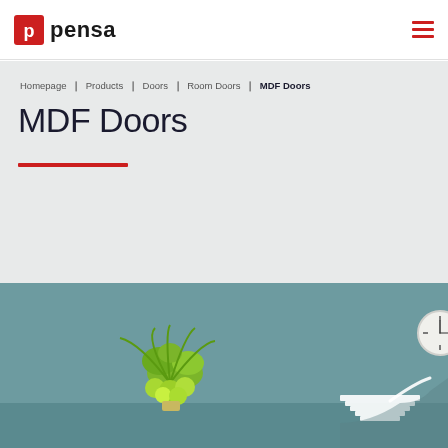Pensa — MDF Doors product page header with logo and navigation menu icon
Homepage ❯ Products ❯ Doors ❯ Room Doors ❯ MDF Doors
MDF Doors
[Figure (photo): Interior room photo with teal/muted green wall, a green plant/flower arrangement, a white shelf unit in the lower right, and a partial clock on the right edge. The scene depicts a modern interior setting used to showcase MDF doors.]